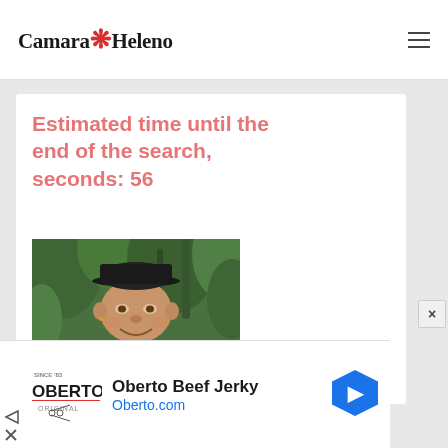Camara Heleno
Estimated time until the end of the search, seconds: 56
[Figure (photo): Portrait photo of a middle-aged man wearing a dark baseball cap and plaid shirt, smiling, with green foliage in background]
[Figure (screenshot): Advertisement: Oberto Beef Jerky - Oberto.com, with Oberto logo on left and navigation arrow icon on right]